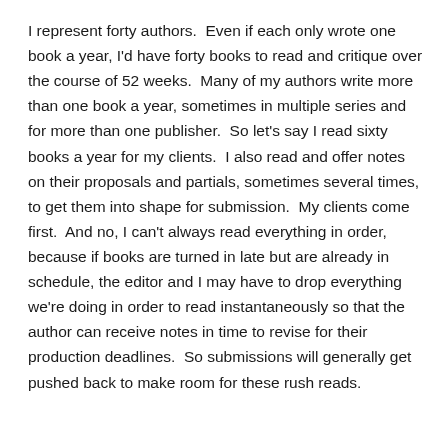I represent forty authors.  Even if each only wrote one book a year, I'd have forty books to read and critique over the course of 52 weeks.  Many of my authors write more than one book a year, sometimes in multiple series and for more than one publisher.  So let's say I read sixty books a year for my clients.  I also read and offer notes on their proposals and partials, sometimes several times, to get them into shape for submission.  My clients come first.  And no, I can't always read everything in order, because if books are turned in late but are already in schedule, the editor and I may have to drop everything we're doing in order to read instantaneously so that the author can receive notes in time to revise for their production deadlines.  So submissions will generally get pushed back to make room for these rush reads.